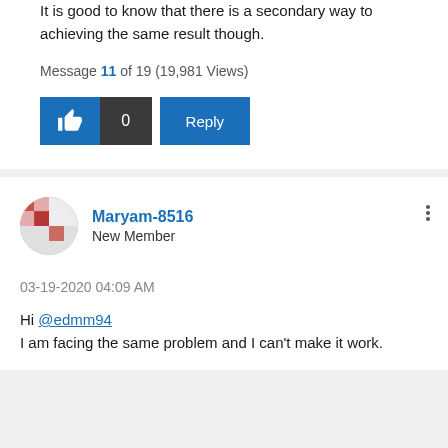It is good to know that there is a secondary way to achieving the same result though.
Message 11 of 19 (19,981 Views)
[Figure (other): Like button (thumbs up icon, blue), like count button (0, dark gray), and Reply button (blue)]
Maryam-8516
New Member
03-19-2020 04:09 AM
Hi @edmm94
I am facing the same problem and I can't make it work.